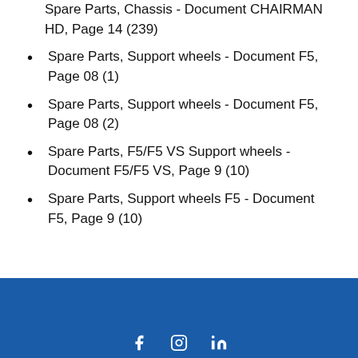Spare Parts, Chassis - Document CHAIRMAN HD, Page 14 (239)
Spare Parts, Support wheels - Document F5, Page 08 (1)
Spare Parts, Support wheels - Document F5, Page 08 (2)
Spare Parts, F5/F5 VS Support wheels - Document F5/F5 VS, Page 9 (10)
Spare Parts, Support wheels F5 - Document F5, Page 9 (10)